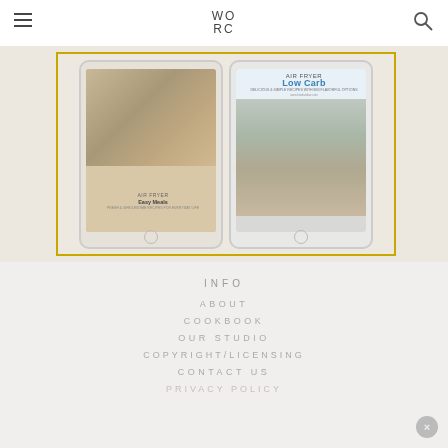WORC
[Figure (photo): Two tablets displayed side by side showing cookbook covers: left tablet shows an air fryer easy meals cookbook with food photos, right tablet shows 'AIR FRYER Low Carb' cookbook with food photos, both framed by a gold/yellow border]
INFO
ABOUT
COOKBOOK
OUR STUDIO
COPYRIGHT/LICENSING
CONTACT US
PRIVACY POLICY